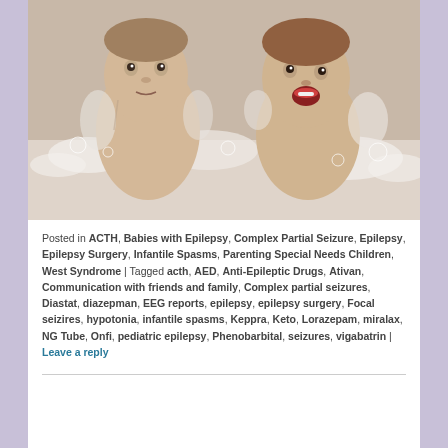[Figure (photo): Two young children (babies/toddlers) in a bathtub with soapy water and bubbles. Left child looks at camera with neutral expression; right child has mouth open. Both appear wet with soap suds around them.]
Posted in ACTH, Babies with Epilepsy, Complex Partial Seizure, Epilepsy, Epilepsy Surgery, Infantile Spasms, Parenting Special Needs Children, West Syndrome | Tagged acth, AED, Anti-Epileptic Drugs, Ativan, Communication with friends and family, Complex partial seizures, Diastat, diazepman, EEG reports, epilepsy, epilepsy surgery, Focal seizires, hypotonia, infantile spasms, Keppra, Keto, Lorazepam, miralax, NG Tube, Onfi, pediatric epilepsy, Phenobarbital, seizures, vigabatrin | Leave a reply